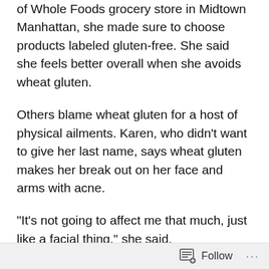As shopper Donna Joind browsed the aisles of Whole Foods grocery store in Midtown Manhattan, she made sure to choose products labeled gluten-free. She said she feels better overall when she avoids wheat gluten.
Others blame wheat gluten for a host of physical ailments. Karen, who didn't want to give her last name, says wheat gluten makes her break out on her face and arms with acne.
“It’s not going to affect me that much, just like a facial thing,” she said.
Follow ...